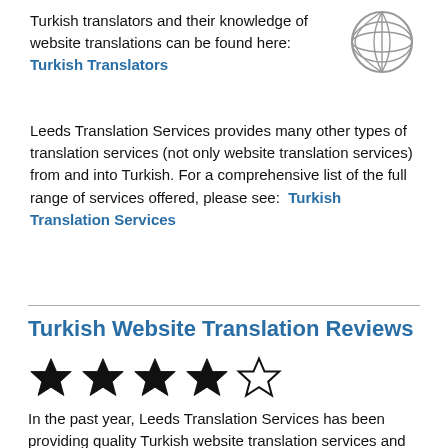Turkish translators and their knowledge of website translations can be found here: Turkish Translators
[Figure (illustration): Globe/world icon with grid lines, gray color]
Leeds Translation Services provides many other types of translation services (not only website translation services) from and into Turkish. For a comprehensive list of the full range of services offered, please see:  Turkish Translation Services
Turkish Website Translation Reviews
[Figure (infographic): 4 filled stars and 1 empty star rating (4 out of 5 stars)]
In the past year, Leeds Translation Services has been providing quality Turkish website translation services and we have received 9 reviews for the Turkish website translator's work. As of the 1st of Aug, 2022, the overall rating for our